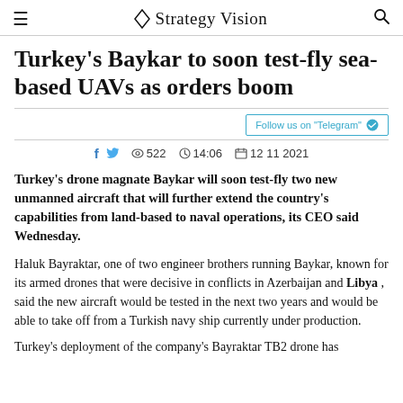Strategy Vision
Turkey's Baykar to soon test-fly sea-based UAVs as orders boom
Follow us on "Telegram"
522   14:06   12 11 2021
Turkey's drone magnate Baykar will soon test-fly two new unmanned aircraft that will further extend the country's capabilities from land-based to naval operations, its CEO said Wednesday.
Haluk Bayraktar, one of two engineer brothers running Baykar, known for its armed drones that were decisive in conflicts in Azerbaijan and Libya , said the new aircraft would be tested in the next two years and would be able to take off from a Turkish navy ship currently under production.
Turkey's deployment of the company's Bayraktar TB2 drone has